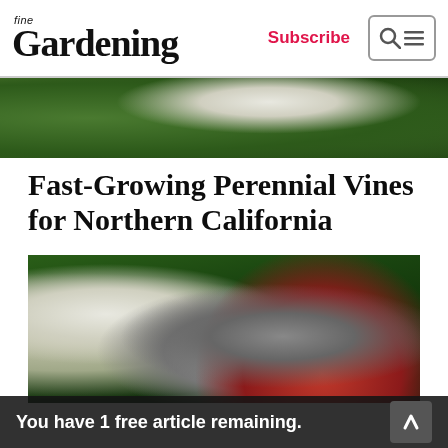fine Gardening | Subscribe
[Figure (photo): Close-up partial view of white flowers and dark green leaves]
Fast-Growing Perennial Vines for Northern California
[Figure (photo): Close-up of green vine stems and dark leaves being pruned with metal pruning shears]
You have 1 free article remaining.